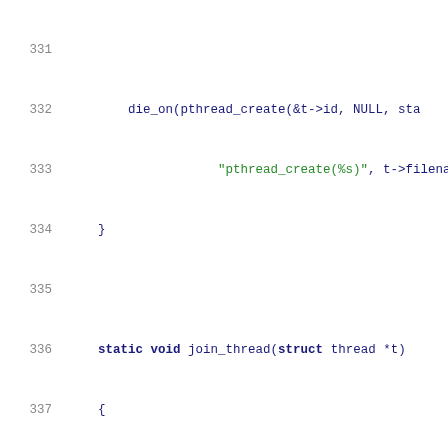[Figure (screenshot): Source code listing in a monospace editor showing C code lines 331-351, including functions join_thread and read_wrap with syntax highlighting: keywords in dark blue/bold, string literals in green, line numbers in gray.]